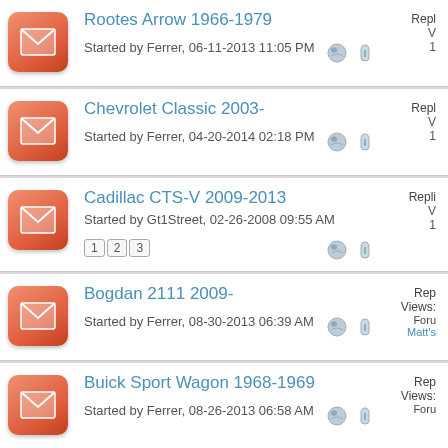Rootes Arrow 1966-1979 — Started by Ferrer, 06-11-2013 11:05 PM
Chevrolet Classic 2003- — Started by Ferrer, 04-20-2014 02:18 PM
Cadillac CTS-V 2009-2013 — Started by Gt1Street, 02-26-2008 09:55 AM — Pages: 1 2 3
Bogdan 2111 2009- — Started by Ferrer, 08-30-2013 06:39 AM — Views: ... Forum: Matt's
Buick Sport Wagon 1968-1969 — Started by Ferrer, 08-26-2013 06:58 AM — Views: ...